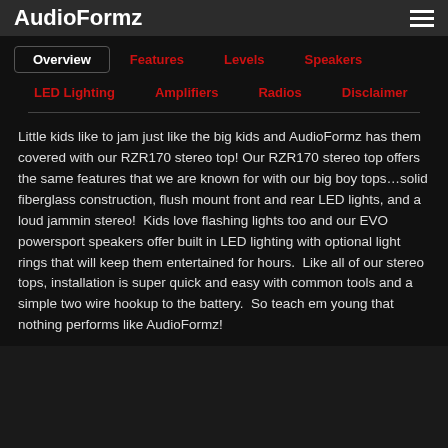AudioFormz
Overview
Features
Levels
Speakers
LED Lighting
Amplifiers
Radios
Disclaimer
Little kids like to jam just like the big kids and AudioFormz has them covered with our RZR170 stereo top! Our RZR170 stereo top offers the same features that we are known for with our big boy tops…solid fiberglass construction, flush mount front and rear LED lights, and a loud jammin stereo!  Kids love flashing lights too and our EVO powersport speakers offer built in LED lighting with optional light rings that will keep them entertained for hours.  Like all of our stereo tops, installation is super quick and easy with common tools and a simple two wire hookup to the battery.  So teach em young that nothing performs like AudioFormz!